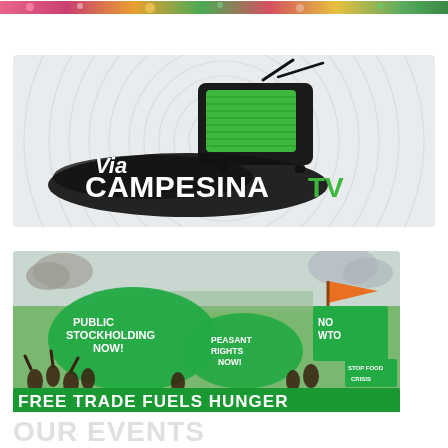[Figure (illustration): Decorative colored banner strip at the top of the page, featuring floral and nature motifs in pinks, greens, and oranges.]
[Figure (logo): Via Campesina TV logo: a retro green television set on a black ink-splash background with the text 'Via CAMPESINA TV' in white and green, on a light grey circular wave-pattern background.]
[Figure (illustration): Protest scene illustration showing a diverse crowd of people marching with green banners and signs reading 'PUBLIC STOCKHOLDING NOW!', 'PEASANT RIGHTS NOW!', 'NO WTO', and 'STOP FOOD CRISIS'. A large green banner at the bottom reads 'FREE TRADE FUELS HUNGER'. Colorful activist artwork.]
OUR EVENTS